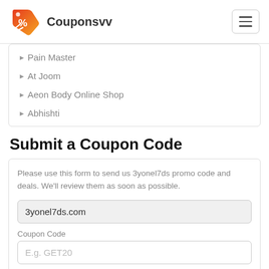Couponsvv
Pain Master
At Joom
Aeon Body Online Shop
Abhishti
Submit a Coupon Code
Please use this form to send us 3yonel7ds promo code and deals. We'll review them as soon as possible.
3yonel7ds.com
Coupon Code
E.g. GET20
Coupon Code Value